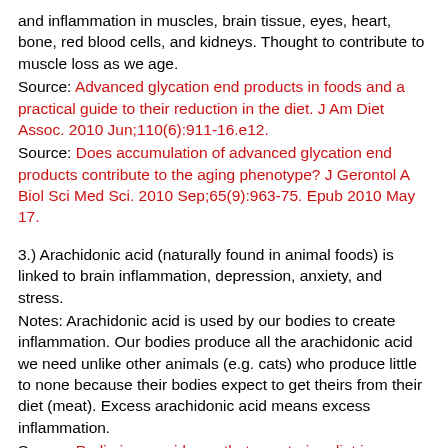and inflammation in muscles, brain tissue, eyes, heart, bone, red blood cells, and kidneys. Thought to contribute to muscle loss as we age.
Source: Advanced glycation end products in foods and a practical guide to their reduction in the diet. J Am Diet Assoc. 2010 Jun;110(6):911-16.e12.
Source: Does accumulation of advanced glycation end products contribute to the aging phenotype? J Gerontol A Biol Sci Med Sci. 2010 Sep;65(9):963-75. Epub 2010 May 17.
3.) Arachidonic acid (naturally found in animal foods) is linked to brain inflammation, depression, anxiety, and stress.
Notes: Arachidonic acid is used by our bodies to create inflammation. Our bodies produce all the arachidonic acid we need unlike other animals (e.g. cats) who produce little to none because their bodies expect to get theirs from their diet (meat). Excess arachidonic acid means excess inflammation.
Source: Preliminary evidence that vegetarian diet improves mood. American Public Health Association annual conference,